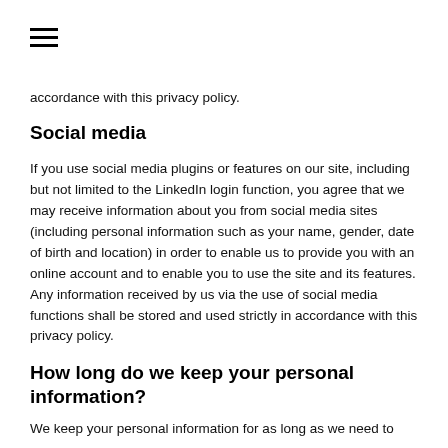≡
accordance with this privacy policy.
Social media
If you use social media plugins or features on our site, including but not limited to the LinkedIn login function, you agree that we may receive information about you from social media sites (including personal information such as your name, gender, date of birth and location) in order to enable us to provide you with an online account and to enable you to use the site and its features. Any information received by us via the use of social media functions shall be stored and used strictly in accordance with this privacy policy.
How long do we keep your personal information?
We keep your personal information for as long as we need to